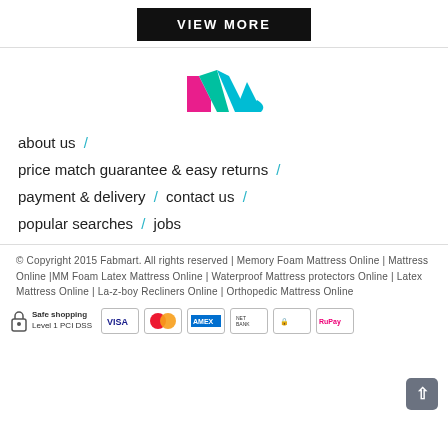VIEW MORE
[Figure (logo): Fabmart colorful M logo with pink, teal, and cyan colors]
about us /
price match guarantee & easy returns /
payment & delivery / contact us /
popular searches / jobs
© Copyright 2015 Fabmart. All rights reserved | Memory Foam Mattress Online | Mattress Online |MM Foam Latex Mattress Online | Waterproof Mattress protectors Online | Latex Mattress Online | La-z-boy Recliners Online | Orthopedic Mattress Online
[Figure (infographic): Safe shopping Level 1 PCI DSS badge with lock icon, followed by payment card logos: VISA, MasterCard, AMEX, HDFC, security badge, RuPay]